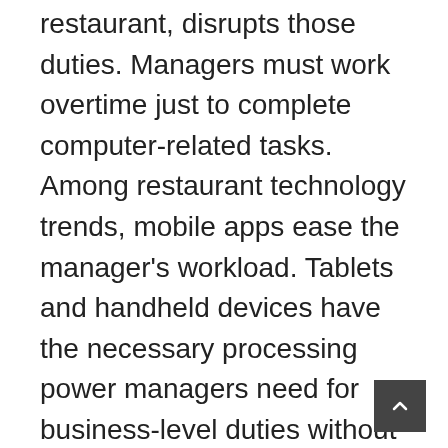restaurant, disrupts those duties. Managers must work overtime just to complete computer-related tasks. Among restaurant technology trends, mobile apps ease the manager's workload. Tablets and handheld devices have the necessary processing power managers need for business-level duties without ever leaving the floor. It gives them a bird's eye, portable view of the restaurant's activity and works.
Cloud storage helps corporate headquarters aggregate data from all their restaurants, providing information like the differences between franchises, and real-time impact of